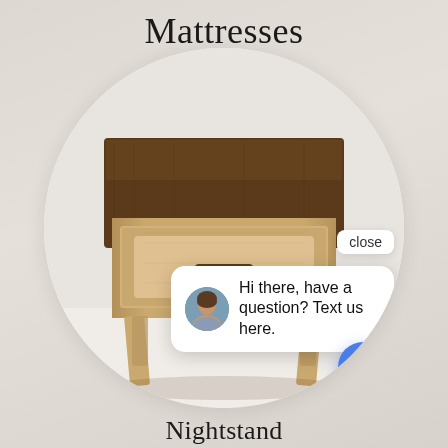Mattresses
[Figure (screenshot): A circular cropped product photo of a mid-century modern wooden nightstand with a dark walnut top and a lighter wood body with one drawer and splayed legs. Overlaid on the bottom-right is a chat popup with an avatar of a woman and text reading 'Hi there, have a question? Text us here.' with a close button above and a blue chat FAB button below.]
Hi there, have a question? Text us here.
close